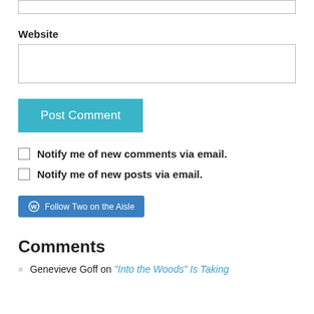Website
Post Comment
Notify me of new comments via email.
Notify me of new posts via email.
Follow Two on the Aisle
Comments
Genevieve Goff on “Into the Woods” Is Taking